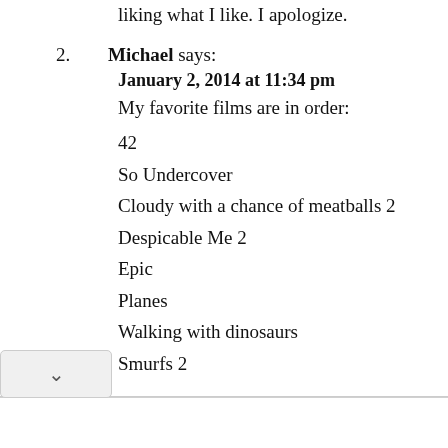liking what I like. I apologize.
2. Michael says:
January 2, 2014 at 11:34 pm
My favorite films are in order:
42
So Undercover
Cloudy with a chance of meatballs 2
Despicable Me 2
Epic
Planes
Walking with dinosaurs
Smurfs 2